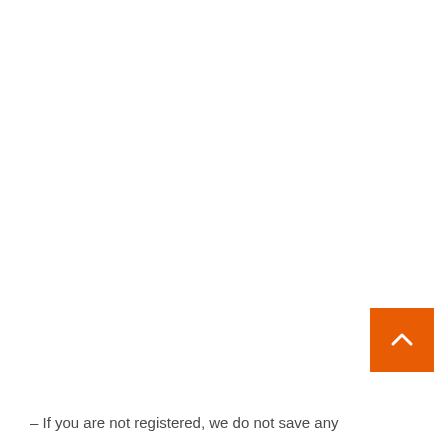[Figure (other): Orange square button with upward-pointing chevron arrow (scroll-to-top button), positioned bottom-right]
– If you are not registered, we do not save any